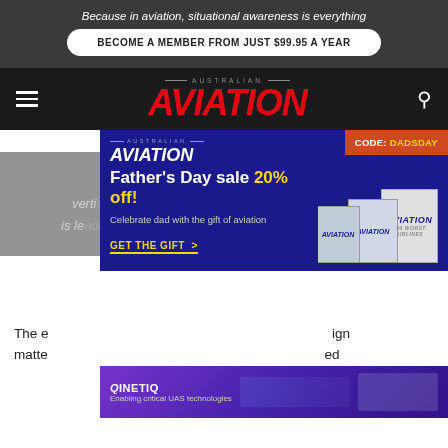Because in aviation, situational awareness is everything
BECOME A MEMBER FROM JUST $99.95 A YEAR
AUSTRALIAN AVIATION
[Figure (infographic): Australian Aviation Father's Day sale advertisement overlay showing 20% off promotion with CODE: DADSDAY, magazine cover images, and GET THE GIFT CTA button]
The e[...] ign matte[...] ed
[Figure (infographic): QinetIQ advertisement bar: Enabling critical UAS technologies]